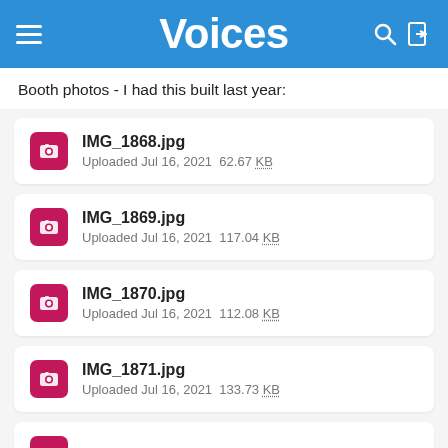Voices
Booth photos - I had this built last year:
IMG_1868.jpg — Uploaded Jul 16, 2021  62.67 KB
IMG_1869.jpg — Uploaded Jul 16, 2021  117.04 KB
IMG_1870.jpg — Uploaded Jul 16, 2021  112.08 KB
IMG_1871.jpg — Uploaded Jul 16, 2021  133.73 KB
IMG_1872.jpg